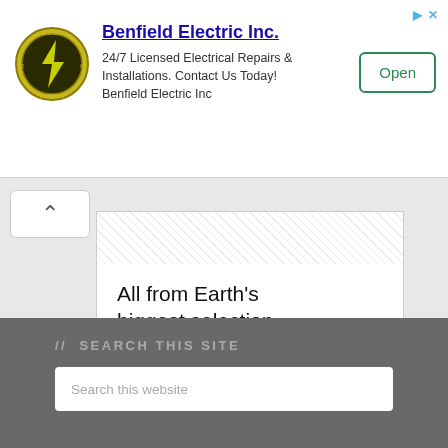[Figure (logo): Benfield Electric Inc. circular logo with lightning bolt]
Benfield Electric Inc.
24/7 Licensed Electrical Repairs & Installations. Contact Us Today! Benfield Electric Inc
Open
[Figure (advertisement): Amazon advertisement card with dotted background at top, text 'All from Earth's biggest selection.' and amazon logo with arrow smile]
Privacy
// SEARCH THIS SITE
Search this website